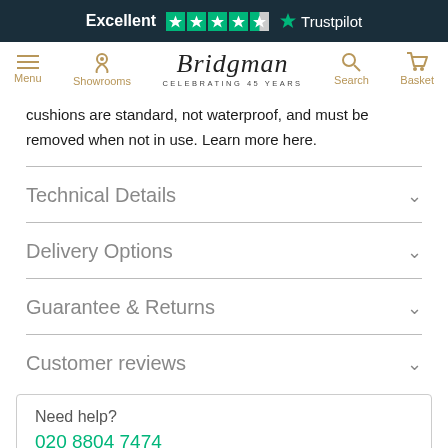Excellent ★★★★½ Trustpilot
[Figure (screenshot): Bridgman website navigation bar with Menu, Showrooms, Bridgman logo (Celebrating 45 Years), Search, and Basket icons]
cushions are standard, not waterproof, and must be removed when not in use. Learn more here.
Technical Details
Delivery Options
Guarantee & Returns
Customer reviews
Need help?
020 8804 7474